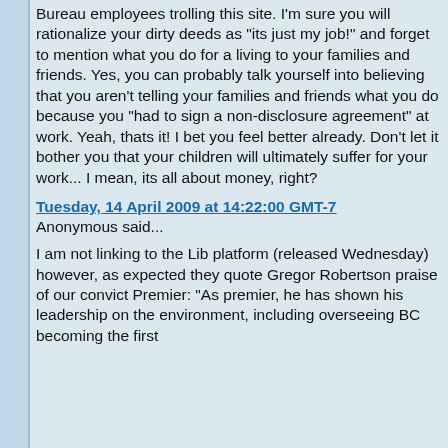Bureau employees trolling this site. I'm sure you will rationalize your dirty deeds as "its just my job!" and forget to mention what you do for a living to your families and friends. Yes, you can probably talk yourself into believing that you aren't telling your families and friends what you do because you "had to sign a non-disclosure agreement" at work. Yeah, thats it! I bet you feel better already. Don't let it bother you that your children will ultimately suffer for your work... I mean, its all about money, right?
Tuesday, 14 April 2009 at 14:22:00 GMT-7
Anonymous said...
I am not linking to the Lib platform (released Wednesday) however, as expected they quote Gregor Robertson praise of our convict Premier: "As premier, he has shown his leadership on the environment, including overseeing BC becoming the first